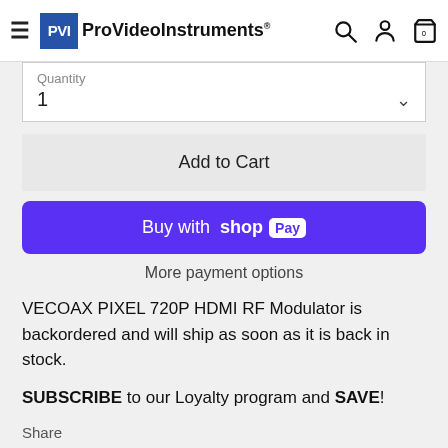ProVideoInstruments
Quantity
1
Add to Cart
[Figure (screenshot): Buy with Shop Pay button - purple/violet rounded rectangle button with white text]
More payment options
VECOAX PIXEL 720P HDMI RF Modulator is backordered and will ship as soon as it is back in stock.
SUBSCRIBE to our Loyalty program and SAVE!
Share